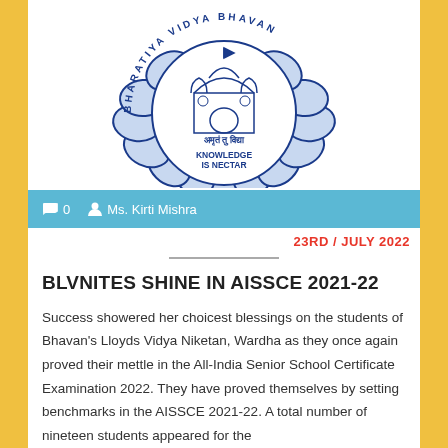[Figure (logo): Bharatiya Vidya Bhavan logo — circular lotus design with building/gate motif inside, Sanskrit text 'अमृतं तु विद्या', 'KNOWLEDGE IS NECTAR', and 'BHARATIYA VIDYA BHAVAN' in circular arrangement]
0   Ms. Kirti Mishra
23RD / JULY 2022
BLVNITES SHINE IN AISSCE 2021-22
Success showered her choicest blessings on the students of Bhavan's Lloyds Vidya Niketan, Wardha as they once again proved their mettle in the All-India Senior School Certificate Examination 2022. They have proved themselves by setting benchmarks in the AISSCE 2021-22. A total number of nineteen students appeared for the